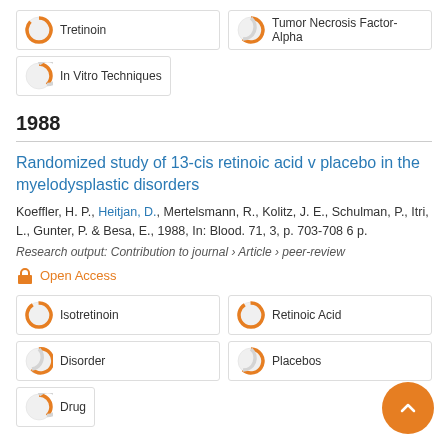Tretinoin
Tumor Necrosis Factor-Alpha
In Vitro Techniques
1988
Randomized study of 13-cis retinoic acid v placebo in the myelodysplastic disorders
Koeffler, H. P., Heitjan, D., Mertelsmann, R., Kolitz, J. E., Schulman, P., Itri, L., Gunter, P. & Besa, E., 1988, In: Blood. 71, 3, p. 703-708 6 p.
Research output: Contribution to journal › Article › peer-review
Open Access
Isotretinoin
Retinoic Acid
Disorder
Placebos
Drug